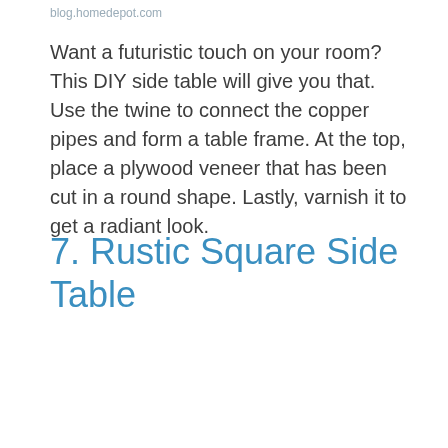blog.homedepot.com
Want a futuristic touch on your room? This DIY side table will give you that. Use the twine to connect the copper pipes and form a table frame. At the top, place a plywood veneer that has been cut in a round shape. Lastly, varnish it to get a radiant look.
7. Rustic Square Side Table